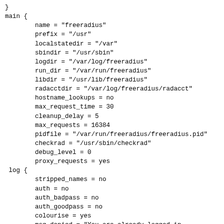}
main {
        name = "freeradius"
        prefix = "/usr"
        localstatedir = "/var"
        sbindir = "/usr/sbin"
        logdir = "/var/log/freeradius"
        run_dir = "/var/run/freeradius"
        libdir = "/usr/lib/freeradius"
        radacctdir = "/var/log/freeradius/radacct"
        hostname_lookups = no
        max_request_time = 30
        cleanup_delay = 5
        max_requests = 16384
        pidfile = "/var/run/freeradius/freeradius.pid"
        checkrad = "/usr/sbin/checkrad"
        debug_level = 0
        proxy_requests = yes
 log {
        stripped_names = no
        auth = no
        auth_badpass = no
        auth_goodpass = no
        colourise = yes
        msg_denied = "You are already logged in -
access denied"
 }
 resources {
 }
 security {